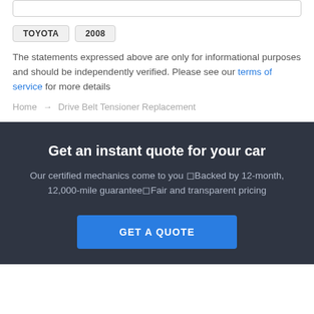TOYOTA
2008
The statements expressed above are only for informational purposes and should be independently verified. Please see our terms of service for more details
Home → Drive Belt Tensioner Replacement
Get an instant quote for your car
Our certified mechanics come to you ◻Backed by 12-month, 12,000-mile guarantee◻Fair and transparent pricing
GET A QUOTE